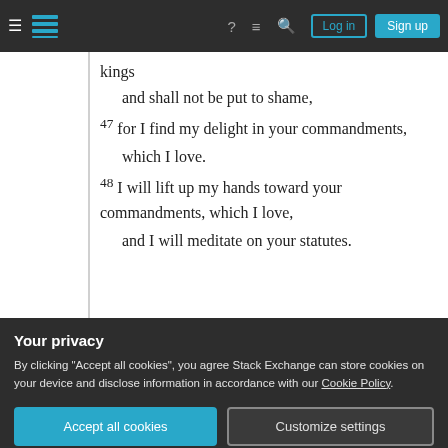Navigation bar with Stack Exchange logo, Log in and Sign up buttons
kings
    and shall not be put to shame,
47 for I find my delight in your commandments,
    which I love.
48 I will lift up my hands toward your commandments, which I love,
    and I will meditate on your statutes.
Share   answered Feb 3, 2012 at 20:14
Improve this answer   Jon Ericson
Follow   9,606 ◆1 ◆45 ◆98
Your privacy
By clicking "Accept all cookies", you agree Stack Exchange can store cookies on your device and disclose information in accordance with our Cookie Policy.
Accept all cookies   Customize settings
Intro